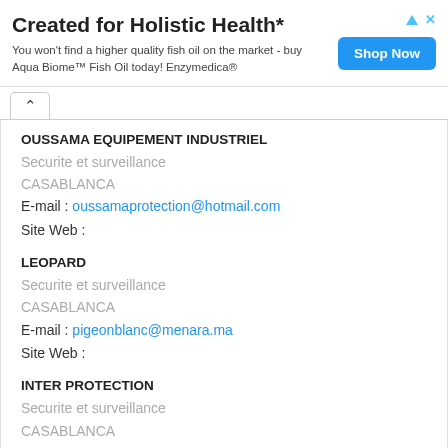[Figure (other): Advertisement banner: 'Created for Holistic Health*' with body text 'You won't find a higher quality fish oil on the market - buy Aqua Biome™ Fish Oil today! Enzymedica®' and a 'Shop Now' button. Ad icons (triangle and X) in top right.]
OUSSAMA EQUIPEMENT INDUSTRIEL
Securite et surveillance
CASABLANCA
E-mail : oussamaprotection@hotmail.com
Site Web :
LEOPARD
Securite et surveillance
CASABLANCA
E-mail : pigeonblanc@menara.ma
Site Web :
INTER PROTECTION
Securite et surveillance
CASABLANCA